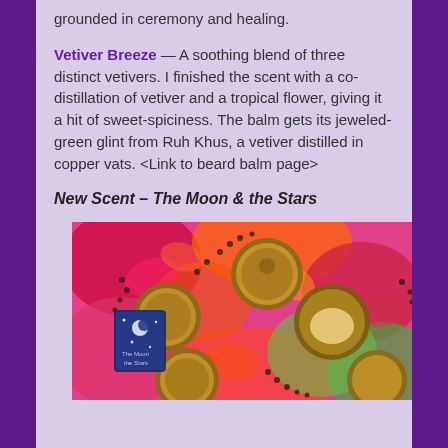grounded in ceremony and healing.
Vetiver Breeze — A soothing blend of three distinct vetivers. I finished the scent with a co-distillation of vetiver and a tropical flower, giving it a hit of sweet-spiciness. The balm gets its jeweled-green glint from Ruh Khus, a vetiver distilled in copper vats. <Link to beard balm page>
New Scent – The Moon & the Stars
[Figure (photo): Overhead photo of several bronze/gold locket-style beard balm tins on a vibrant floral fabric background in pink, red, orange and green. A small blue label card reading 'The Moon & the Stars' is visible among the tins.]